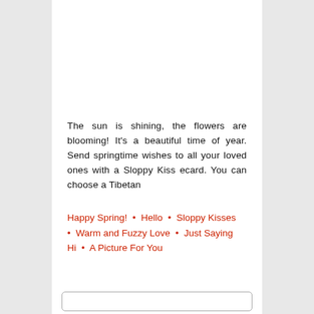The sun is shining, the flowers are blooming! It's a beautiful time of year. Send springtime wishes to all your loved ones with a Sloppy Kiss ecard. You can choose a Tibetan
Happy Spring!  •  Hello  •  Sloppy Kisses  •  Warm and Fuzzy Love  •  Just Saying Hi  •  A Picture For You